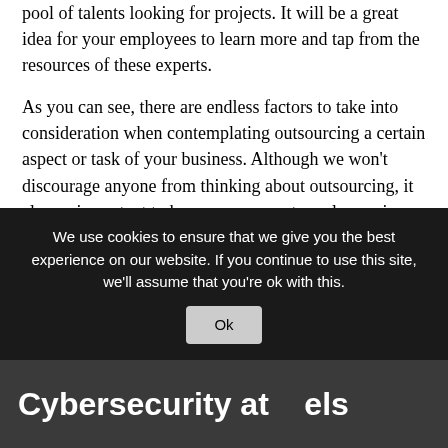pool of talents looking for projects. It will be a great idea for your employees to learn more and tap from the resources of these experts.
As you can see, there are endless factors to take into consideration when contemplating outsourcing a certain aspect or task of your business. Although we won't discourage anyone from thinking about outsourcing, it always important to keep your current employees in mind as they may be able to complete the task you need and you will have to reward them deservedly. Outsourcing is a good resource for business of all sizes, it isn't something that you should jump into and you should seek any potential business advice you can before leaping into it.
We use cookies to ensure that we give you the best experience on our website. If you continue to use this site, we'll assume that you're ok with this.
Cybersecurity at els